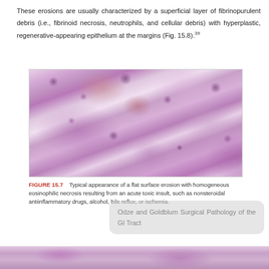These erosions are usually characterized by a superficial layer of fibrinopurulent debris (i.e., fibrinoid necrosis, neutrophils, and cellular debris) with hyperplastic, regenerative-appearing epithelium at the margins (Fig. 15.8).³⁹
[Figure (photo): Histological microscopy image showing a flat surface erosion with homogeneous eosinophilic necrosis, showing tissue cross-section with cellular detail in pink and purple hematoxylin and eosin staining]
FIGURE 15.7    Typical appearance of a flat surface erosion with homogeneous eosinophilic necrosis resulting from an acute toxic insult, such as nonsteroidal antiinflammatory drugs, alcohol, bile reflux, or ischemia.
Odze and Goldblum Surgical Pathology of the GI Tract
[Figure (photo): Partial view of another histological microscopy image at the bottom of the page]